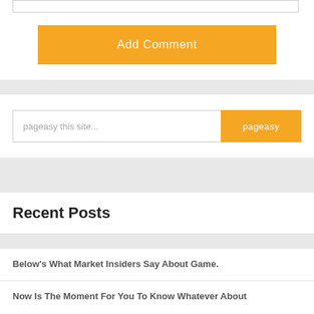[Figure (screenshot): Input text field (partially visible at top)]
Add Comment
pageasy this site...
pageasy
Recent Posts
Below's What Market Insiders Say About Game.
Now Is The Moment For You To Know Whatever About